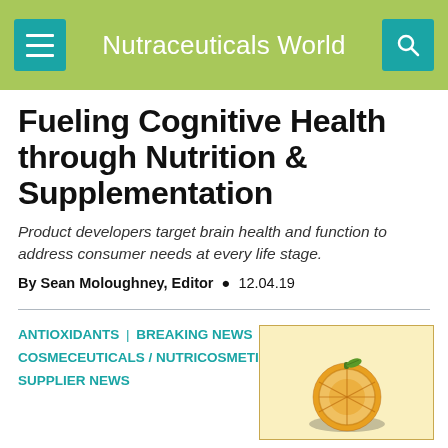Nutraceuticals World
Fueling Cognitive Health through Nutrition & Supplementation
Product developers target brain health and function to address consumer needs at every life stage.
By Sean Moloughney, Editor • 12.04.19
ANTIOXIDANTS | BREAKING NEWS | COSMECEUTICALS / NUTRICOSMETICS | SKIN HEALTH | SUPPLIER NEWS
[Figure (illustration): Illustration of a citrus fruit (orange or tomato hybrid) sliced open, showing cross-section, on a pale yellow background with a shadow beneath it.]